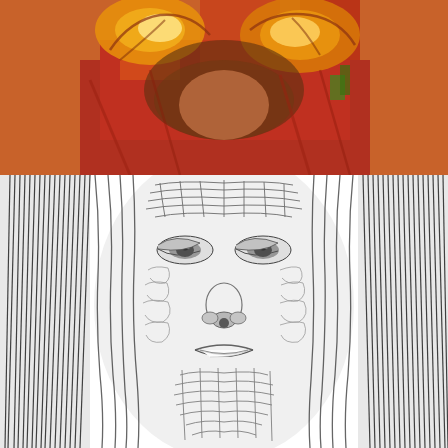[Figure (illustration): Top portion: A colorful painting showing hands holding or presenting objects, with warm reds, oranges, and yellows. The figure wears a red garment. The style is expressive and painterly.]
[Figure (illustration): Bottom portion: A detailed black-and-white pen-and-ink style illustration of a human face with long flowing hair. The face is rendered with dense, swirling crosshatched lines creating a mosaic-like texture. The figure appears contemplative or serene.]